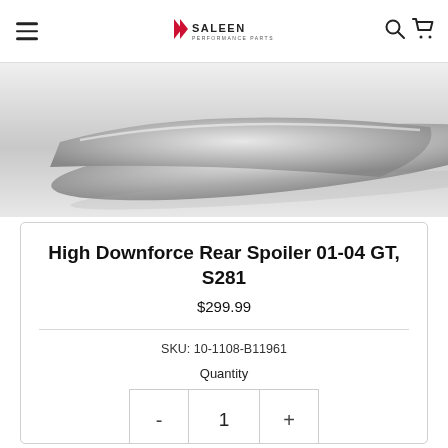Saleen Performance Parts navigation bar with hamburger menu, Saleen logo, search and cart icons
[Figure (photo): Partial view of a high downforce rear spoiler product, shown from above on a light gray gradient background]
High Downforce Rear Spoiler 01-04 GT, S281
$299.99
SKU: 10-1108-B11961
Quantity
1 person is viewing this, 1 recently purchased it and 1 has this in their cart.